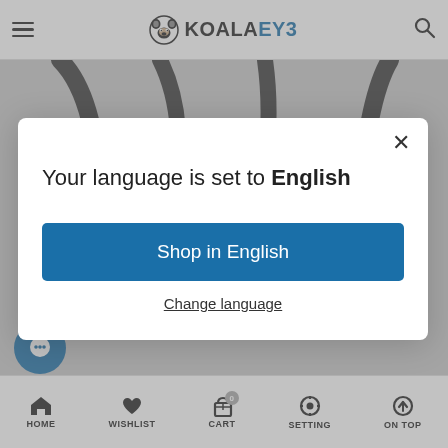KOALAEYE — navigation header with hamburger menu, logo, and search icon
[Figure (photo): Close-up of dark eyeglass frames on grey background, showing legs/arms of multiple frames]
Your language is set to English
Shop in English
Change language
HOME | WISHLIST | CART | SETTING | ON TOP